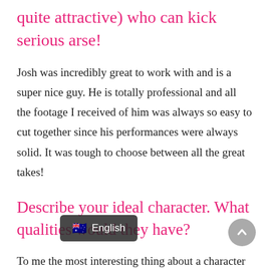quite attractive) who can kick serious arse!
Josh was incredibly great to work with and is a super nice guy. He is totally professional and all the footage I received of him was always so easy to cut together since his performances were always solid. It was tough to choose between all the great takes!
Describe your ideal character. What qualities would they have?
To me the most interesting thing about a character is to see ho[w they change] over the course of the TV show or movie. It'[s also more co]mpelling to see an imperfect character